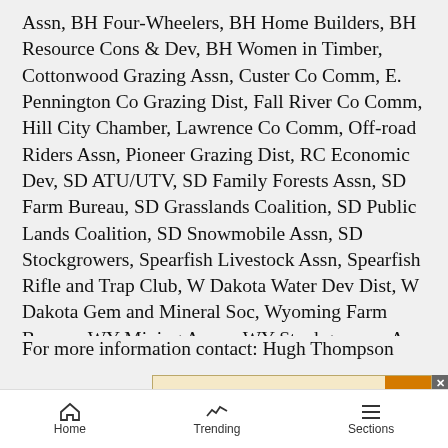Assn, BH Four-Wheelers, BH Home Builders, BH Resource Cons & Dev, BH Women in Timber, Cottonwood Grazing Assn, Custer Co Comm, E. Pennington Co Grazing Dist, Fall River Co Comm, Hill City Chamber, Lawrence Co Comm, Off-road Riders Assn, Pioneer Grazing Dist, RC Economic Dev, SD ATU/UTV, SD Family Forests Assn, SD Farm Bureau, SD Grasslands Coalition, SD Public Lands Coalition, SD Snowmobile Assn, SD Stockgrowers, Spearfish Livestock Assn, Spearfish Rifle and Trap Club, W Dakota Water Dev Dist, W Dakota Gem and Mineral Soc, Wyoming Farm Bureau, WY Mining Assoc, WY Stockgrowers Assn
For more information contact: Hugh Thompson
BHRM
Execu
[Figure (other): Fall River Feedyard LLC advertisement banner with cow illustration, text 'FALL RIVER FEEDYARD LLC', 'Your Beef is Our Business!', 'Hot Springs, SD | 605.745.4109', and orange 'MORE INFO' button]
Home   Trending   Sections